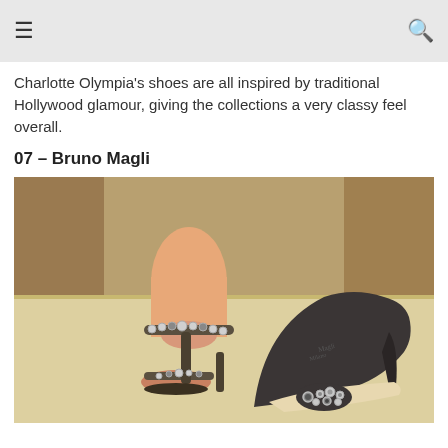≡  🔍
Charlotte Olympia's shoes are all inspired by traditional Hollywood glamour, giving the collections a very classy feel overall.
07 – Bruno Magli
[Figure (photo): Two Bruno Magli shoes on display: a bejeweled strappy sandal on a mannequin foot (left) and a dark pump with jeweled brooch detail (right), on a cream-colored shelf surface.]